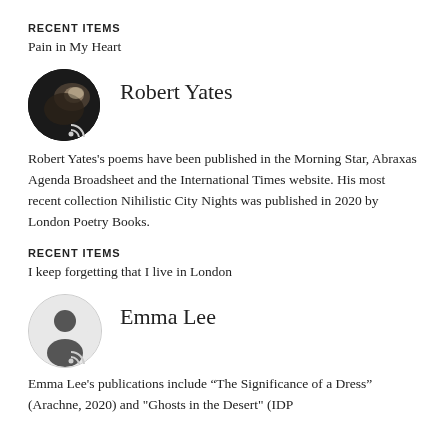RECENT ITEMS
Pain in My Heart
[Figure (photo): Circular avatar photo of Robert Yates, dark background with dramatic lighting showing a person]
Robert Yates
Robert Yates's poems have been published in the Morning Star, Abraxas Agenda Broadsheet and the International Times website. His most recent collection Nihilistic City Nights was published in 2020 by London Poetry Books.
RECENT ITEMS
I keep forgetting that I live in London
[Figure (illustration): Circular avatar with light grey background showing a dark silhouette of a person (default user icon)]
Emma Lee
Emma Lee's publications include “The Significance of a Dress” (Arachne, 2020) and "Ghosts in the Desert" (IDP